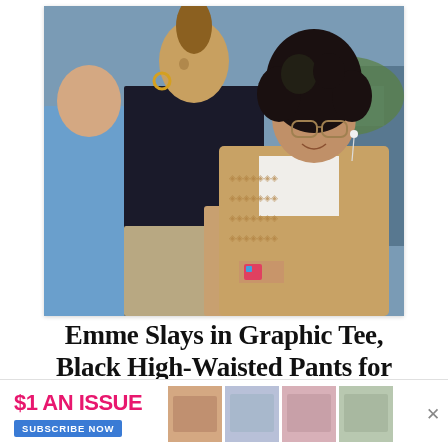[Figure (photo): Outdoor photo showing two adults and a child. A teenager with curly dark hair and glasses wearing a tan/beige patterned open shirt over a white tee, smiling at the camera. Behind them is a woman in a black turtleneck top with a patterned skirt, hair pulled back, wearing gold hoop earrings. To the left is another person in a blue top, partially visible.]
Emme Slays in Graphic Tee, Black High-Waisted Pants for French Dinner
[Figure (other): Advertisement banner: '$1 AN ISSUE' in pink bold text, 'SUBSCRIBE NOW' blue button, US Weekly magazine cover images on right, X close button.]